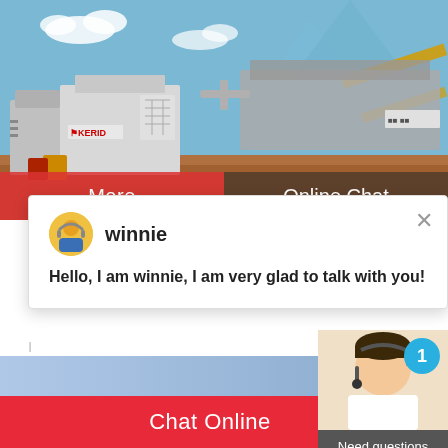[Figure (photo): Industrial mining/crushing machinery on a construction site with blue sky background. KERID brand visible on equipment.]
More
Online Chat
[Figure (screenshot): Chat popup window with avatar of agent named 'winnie' and close button]
winnie
Hello, I am winnie, I am very glad to talk with you!
capacity of 14400 spindles works out to Rs. 2 break up of the cost is tabulated below. The la will be around 2.5 acres. The Preliminary Pre
[Figure (photo): Customer service agent photo with headset, notification badge showing '1']
Need questions & suggestion?
Chat Now
Chat Online
Enquire